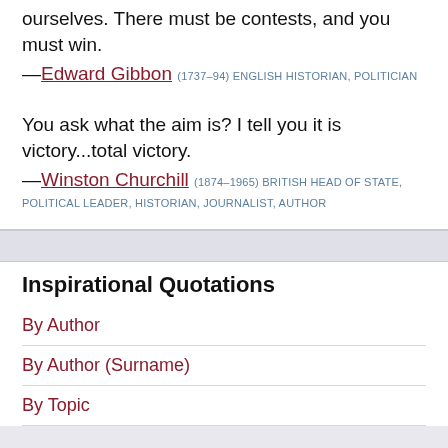ourselves. There must be contests, and you must win.
—Edward Gibbon (1737–94) ENGLISH HISTORIAN, POLITICIAN
You ask what the aim is? I tell you it is victory...total victory.
—Winston Churchill (1874–1965) BRITISH HEAD OF STATE, POLITICAL LEADER, HISTORIAN, JOURNALIST, AUTHOR
Inspirational Quotations
By Author
By Author (Surname)
By Topic